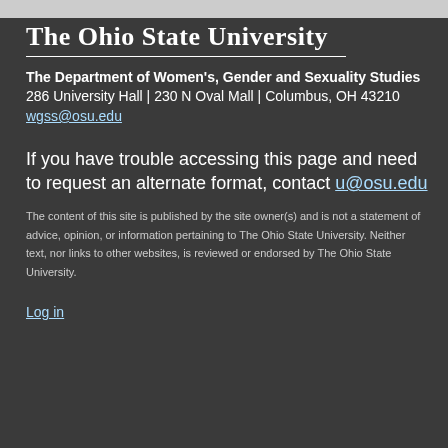The Ohio State University
The Department of Women's, Gender and Sexuality Studies
286 University Hall | 230 N Oval Mall | Columbus, OH 43210
wgss@osu.edu
If you have trouble accessing this page and need to request an alternate format, contact u@osu.edu
The content of this site is published by the site owner(s) and is not a statement of advice, opinion, or information pertaining to The Ohio State University. Neither text, nor links to other websites, is reviewed or endorsed by The Ohio State University.
Log in